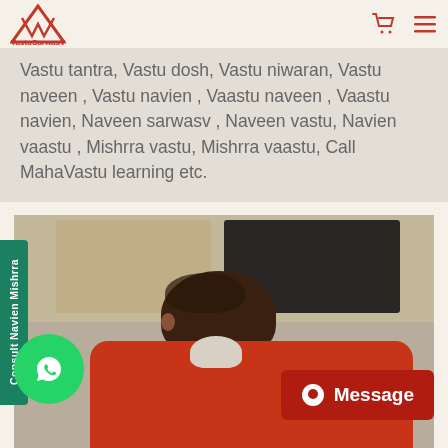VastuSarwasV
Vastu tantra, Vastu dosh, Vastu niwaran, Vastu naveen , Vastu navien , Vaastu naveen , Vaastu navien, Naveen sarwasv , Naveen vastu, Navien vaastu , Mishrra vastu, Mishrra vaastu, Call MahaVastu learning etc.
[Figure (photo): Person wearing red sweater bending over, viewed from above, with wooden paneled wall and dark TV/screen in background. Green circular WhatsApp button and red Message button overlay the bottom of the image. Vertical green sidebar button reads 'Consult Navien Mishrra'.]